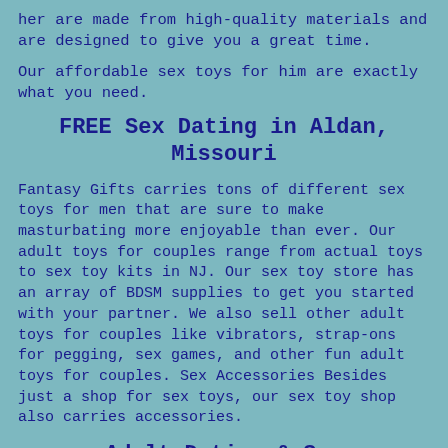her are made from high-quality materials and are designed to give you a great time.
Our affordable sex toys for him are exactly what you need.
FREE Sex Dating in Aldan, Missouri
Fantasy Gifts carries tons of different sex toys for men that are sure to make masturbating more enjoyable than ever. Our adult toys for couples range from actual toys to sex toy kits in NJ. Our sex toy store has an array of BDSM supplies to get you started with your partner. We also sell other adult toys for couples like vibrators, strap-ons for pegging, sex games, and other fun adult toys for couples. Sex Accessories Besides just a shop for sex toys, our sex toy shop also carries accessories.
Adult Dating & Sex Hookups in Lodi, New Jersey